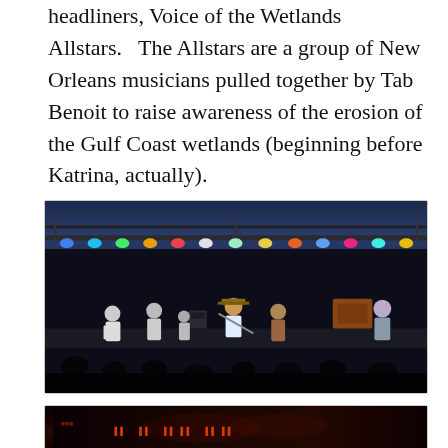headliners, Voice of the Wetlands Allstars.   The Allstars are a group of New Orleans musicians pulled together by Tab Benoit to raise awareness of the erosion of the Gulf Coast wetlands (beginning before Katrina, actually).
[Figure (photo): Outdoor concert stage at night with colorful lighting rig overhead. Multiple musicians performing on stage with instruments. Audience silhouettes visible in foreground.]
[Figure (photo): Dark concert photo with red/orange LED signage visible in background, partial view of stage setup.]